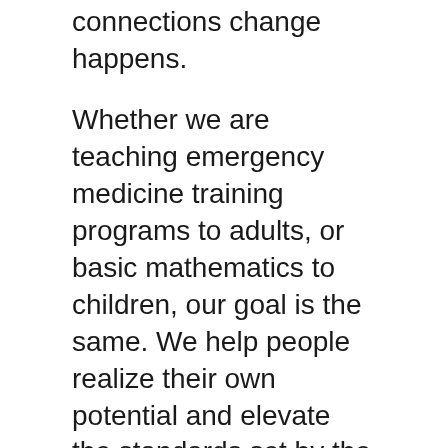connections change happens.
Whether we are teaching emergency medicine training programs to adults, or basic mathematics to children, our goal is the same. We help people realize their own potential and elevate the standards set by the world today.
Rhythm Changes got its start off the corner of St. Philomene Street, Cap Haitian, in November 2016. After a massive storm system canceled schools in Haiti, a group of American music teachers – Glen Willet, Joe Zellers, and Brandon Dull – decided to teach what they